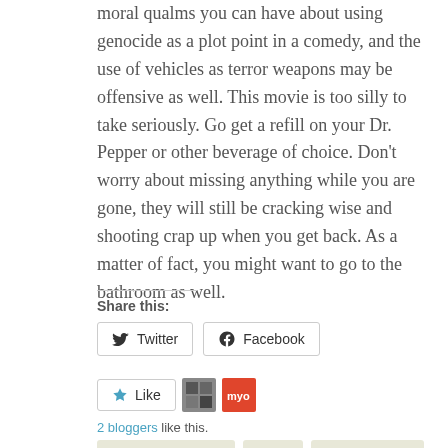moral qualms you can have about using genocide as a plot point in a comedy, and the use of vehicles as terror weapons may be offensive as well. This movie is too silly to take seriously. Go get a refill on your Dr. Pepper or other beverage of choice. Don't worry about missing anything while you are gone, they will still be cracking wise and shooting crap up when you get back. As a matter of fact, you might want to go to the bathroom as well.
Share this:
Twitter
Facebook
Like
2 bloggers like this.
#hitmansbodyguard
Action
Ryan Reynolds